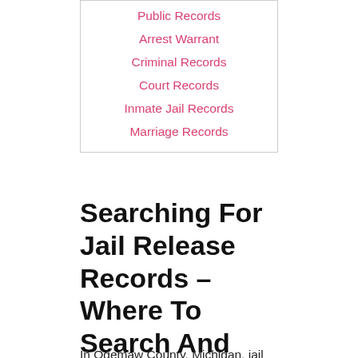Public Records
Arrest Warrant
Criminal Records
Court Records
Inmate Jail Records
Marriage Records
Searching For Jail Release Records – Where To Search And How To Search
In Ogemaw County, Michigan, jail records can be obtained by anyone who needs the information. Anyone can get this public information in this